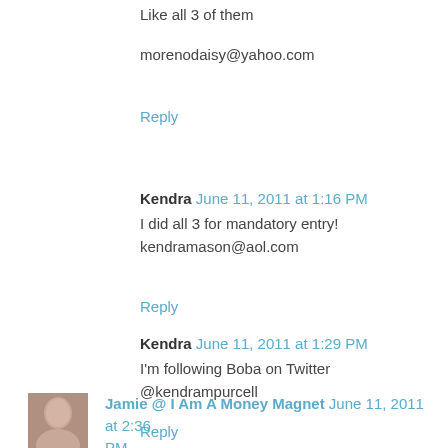Like all 3 of them

morenodaisy@yahoo.com
Reply
Kendra  June 11, 2011 at 1:16 PM
I did all 3 for mandatory entry!
kendramason@aol.com
Reply
Kendra  June 11, 2011 at 1:29 PM
I'm following Boba on Twitter
@kendrampurcell
Reply
Jamie @ I Am A Money Magnet  June 11, 2011 at 2:36 PM